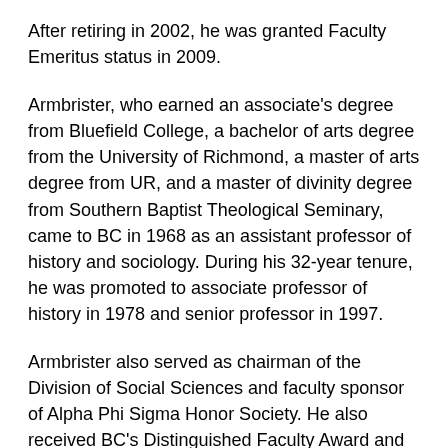After retiring in 2002, he was granted Faculty Emeritus status in 2009.
Armbrister, who earned an associate's degree from Bluefield College, a bachelor of arts degree from the University of Richmond, a master of arts degree from UR, and a master of divinity degree from Southern Baptist Theological Seminary, came to BC in 1968 as an assistant professor of history and sociology. During his 32-year tenure, he was promoted to associate professor of history in 1978 and senior professor in 1997.
Armbrister also served as chairman of the Division of Social Sciences and faculty sponsor of Alpha Phi Sigma Honor Society. He also received BC's Distinguished Faculty Award and published two books on the history of Bluefield College. After retiring in 2000, he was granted Faculty Emeritus status in 2009.
Troy Peery, a 1964 BC graduate and longtime president and